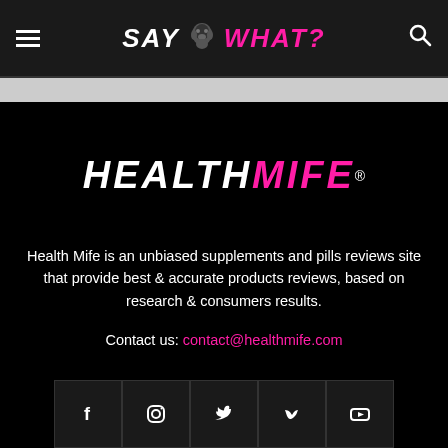SAY WHAT? (navigation header with hamburger menu and search icon)
[Figure (logo): HEALTH MIFE® logo in white and pink on black background]
Health Mife is an unbiased supplements and pills reviews site that provide best & accurate products reviews, based on research & consumers results.
Contact us: contact@healthmife.com
[Figure (infographic): Social media icons row: Facebook, Instagram, Twitter, Vimeo, YouTube]